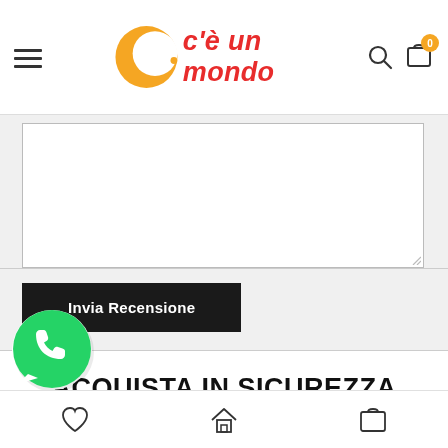[Figure (logo): C'è un mondo logo with orange circular icon and red italic text]
[Figure (screenshot): Empty textarea input field for review text]
Invia Recensione
ACQUISTA IN SICUREZZA
Dettagli
[Figure (illustration): WhatsApp green phone icon bubble in bottom left corner]
Bottom navigation bar with heart, home, and cart icons